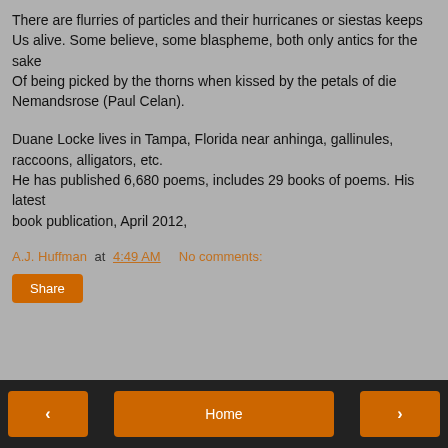There are flurries of particles and their hurricanes or siestas keeps
Us alive. Some believe, some blaspheme, both only antics for the sake
Of being picked by the thorns when kissed by the petals of die
Nemandsrose (Paul Celan).
Duane Locke lives in Tampa, Florida near anhinga, gallinules, raccoons, alligators, etc.
He has published 6,680 poems, includes 29 books of poems. His latest
book publication, April 2012,
A.J. Huffman at 4:49 AM   No comments:
Share
‹   Home   ›